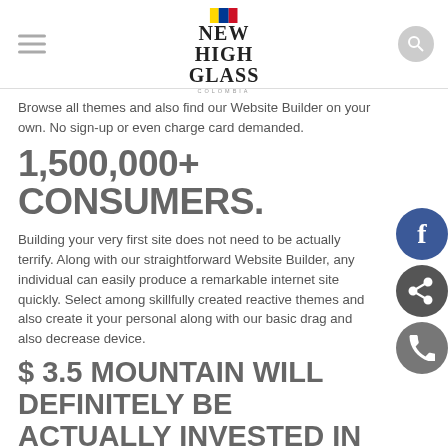NEW HIGH GLASS COLOMBIA
Browse all themes and also find our Website Builder on your own. No sign-up or even charge card demanded.
1,500,000+ CONSUMERS.
Building your very first site does not need to be actually terrify. Along with our straightforward Website Builder, any individual can easily produce a remarkable internet site quickly. Select among skillfully created reactive themes and also create it your personal along with our basic drag and also decrease device.
$ 3.5 MOUNTAIN WILL DEFINITELY BE ACTUALLY INVESTED IN ECOMMERCE THIS YEAR.
If you're actually experienced along with internet site structure, our